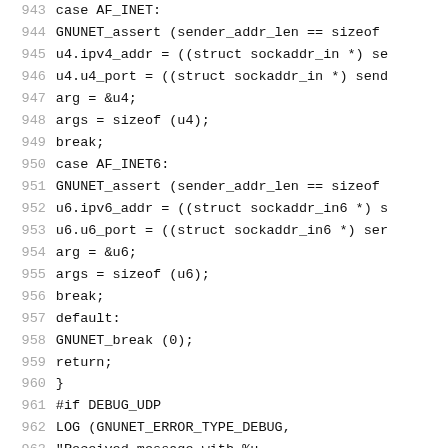[Figure (screenshot): Source code snippet in C showing lines 943–972 with line numbers on left in gray and code on right in monospace font. Code includes switch cases for AF_INET and AF_INET6, a default case, DEBUG_UDP preprocessor block, and session creation comments.]